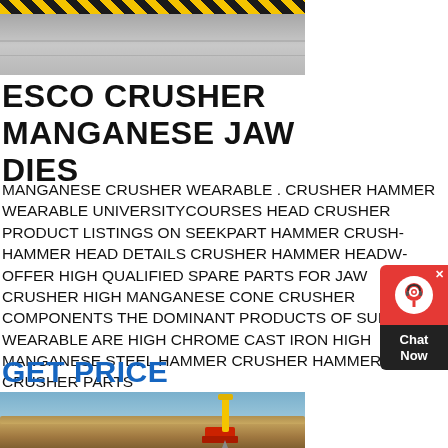[Figure (photo): Top image showing a paved surface with yellow and black hazard stripes at the top edge]
ESCO CRUSHER MANGANESE JAW DIES
MANGANESE CRUSHER WEARABLE . CRUSHER HAMMER WEARABLE UNIVERSITYCOURSES HEAD CRUSHER PRODUCT LISTINGS ON SEEKPART HAMMER CRUSHER HAMMER HEAD DETAILS CRUSHER HAMMER HEADWE OFFER HIGH QUALIFIED SPARE PARTS FOR JAW CRUSHER HIGH MANGANESE CONE CRUSHER COMPONENTS THE DOMINANT PRODUCTS OF SUIBAO WEARABLE ARE HIGH CHROME CAST IRON HIGH MANGANESE STEEL HAMMER CRUSHER HAMMER CRUSHER PARTS
GET PRICE
[Figure (photo): Bottom image showing an open-pit mining site with desert landscape, blue sky, and yellow mining drilling equipment]